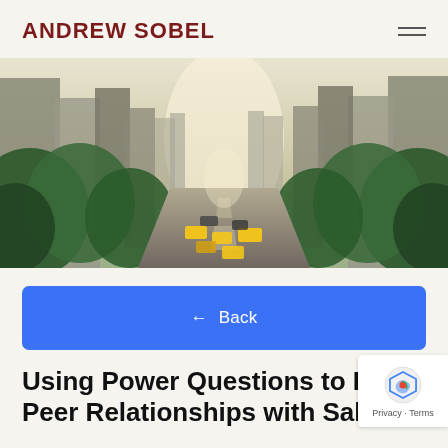ANDREW SOBEL
[Figure (photo): Aerial view of a busy New York City street flanked by skyscrapers and green trees, with yellow taxis visible on the road below]
← Back
Using Power Questions to Build Peer Relationships with Sales